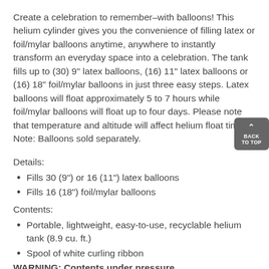Create a celebration to remember–with balloons! This helium cylinder gives you the convenience of filling latex or foil/mylar balloons anytime, anywhere to instantly transform an everyday space into a celebration. The tank fills up to (30) 9" latex balloons, (16) 11" latex balloons or (16) 18" foil/mylar balloons in just three easy steps. Latex balloons will float approximately 5 to 7 hours while foil/mylar balloons will float up to four days. Please note that temperature and altitude will affect helium float time. Note: Balloons sold separately.
Details:
Fills 30 (9") or 16 (11") latex balloons
Fills 16 (18") foil/mylar balloons
Contents:
Portable, lightweight, easy-to-use, recyclable helium tank (8.9 cu. ft.)
Spool of white curling ribbon
WARNING: Contents under pressure